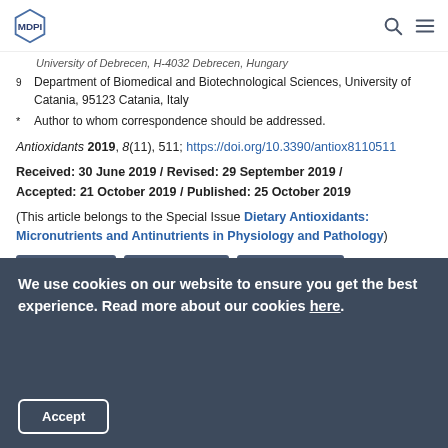MDPI logo with search and menu icons
University of Debrecen, H-4032 Debrecen, Hungary
9 Department of Biomedical and Biotechnological Sciences, University of Catania, 95123 Catania, Italy
* Author to whom correspondence should be addressed.
Antioxidants 2019, 8(11), 511; https://doi.org/10.3390/antiox8110511
Received: 30 June 2019 / Revised: 29 September 2019 / Accepted: 21 October 2019 / Published: 25 October 2019
(This article belongs to the Special Issue Dietary Antioxidants: Micronutrients and Antinutrients in Physiology and Pathology)
View Full-Text | Download PDF | Citation Export
We use cookies on our website to ensure you get the best experience. Read more about our cookies here.
Accept